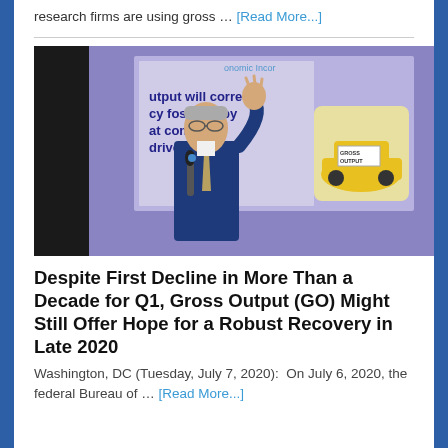research firms are using gross … [Read More...]
[Figure (photo): A man in a blue suit speaking at a podium, gesturing with his hand. Behind him is a presentation slide showing text about output correcting something fostered by consumers, with a cartoon car labeled GROSS OUTPUT.]
Despite First Decline in More Than a Decade for Q1, Gross Output (GO) Might Still Offer Hope for a Robust Recovery in Late 2020
Washington, DC (Tuesday, July 7, 2020):  On July 6, 2020, the federal Bureau of … [Read More...]